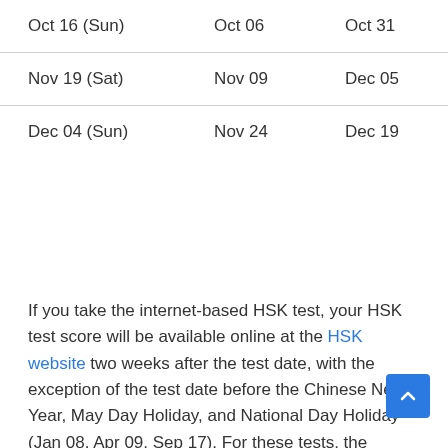| Oct 16 (Sun) | Oct 06 | Oct 31 |
| Nov 19 (Sat) | Nov 09 | Dec 05 |
| Dec 04 (Sun) | Nov 24 | Dec 19 |
If you take the internet-based HSK test, your HSK test score will be available online at the HSK website two weeks after the test date, with the exception of the test date before the Chinese New Year, May Day Holiday, and National Day Holiday (Jan 08, Apr 09, Sep 17). For these tests, the release of score reports will be postponed by another week. The physical test report, on the other hand, will be sent to your test center 1-2 months after the